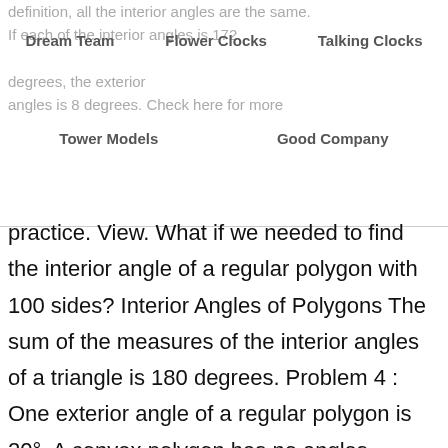Dream Team   Flower Clocks   Talking Clocks
definition, all the interior angles are the same. If each of the interior angles is 172 degrees, the exterior angles is 8 degrees. Check here for more
Tower Models   Good Company
practice. View. What if we needed to find the interior angle of a regular polygon with 100 sides? Interior Angles of Polygons The sum of the measures of the interior angles of a triangle is 180 degrees. Problem 4 : One exterior angle of a regular polygon is 20°. A convex polygon has no angles pointing inwards. The diagonals of a rhombus have three special properties. A convex polygon